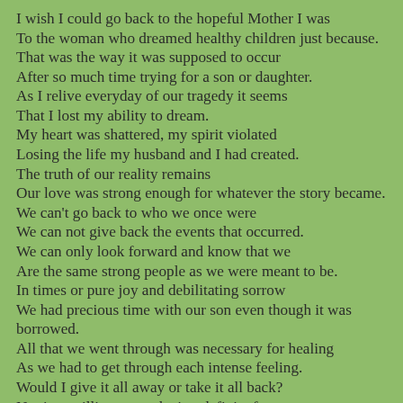I wish I could go back to the hopeful Mother I was
To the woman who dreamed healthy children just because.
That was the way it was supposed to occur
After so much time trying for a son or daughter.
As I relive everyday of our tragedy it seems
That I lost my ability to dream.
My heart was shattered, my spirit violated
Losing the life my husband and I had created.
The truth of our reality remains
Our love was strong enough for whatever the story became.
We can't go back to who we once were
We can not give back the events that occurred.
We can only look forward and know that we
Are the same strong people as we were meant to be.
In times or pure joy and debilitating sorrow
We had precious time with our son even though it was borrowed.
All that we went through was necessary for healing
As we had to get through each intense feeling.
Would I give it all away or take it all back?
Not in a million years that's a definite fact.
We held our son in our arms now in our hearts forever
Would I trade health for my son? I would not ever.